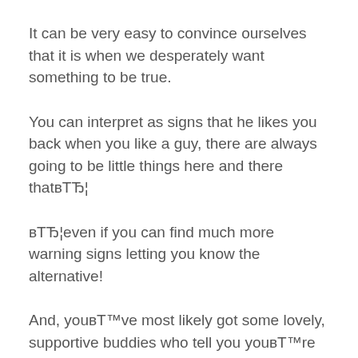It can be very easy to convince ourselves that it is when we desperately want something to be true.
You can interpret as signs that he likes you back when you like a guy, there are always going to be little things here and there thatвЂ¦
вЂ¦even if you can find much more warning signs letting you know the alternative!
And, youвЂ™ve most likely got some lovely, supportive buddies who tell you youвЂ™re right.
YouвЂ™ve had with a guy you like, theyвЂ™re likely to tell you that yes, that eye contact he gave you does mean that thereвЂ™s something between you when you tell your mates